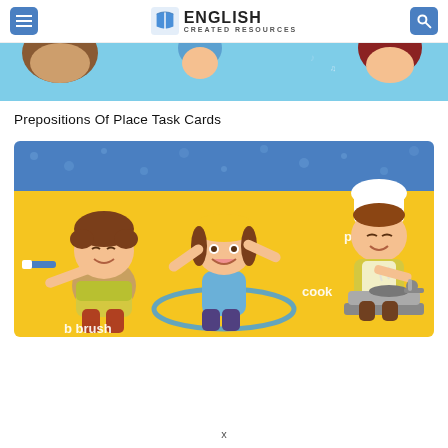English Created Resources — navigation header with menu and search buttons
[Figure (illustration): Partial banner strip showing cartoon children — kids with brown hair visible at top of page, colorful background with music notes]
Prepositions Of Place Task Cards
[Figure (illustration): Colorful cartoon illustration of three children: left child brushing teeth (labeled 'brush'), center child playing with hula hoop (labeled 'play'), right child cooking (labeled 'cook'). Yellow background with blue polka-dot top strip.]
x